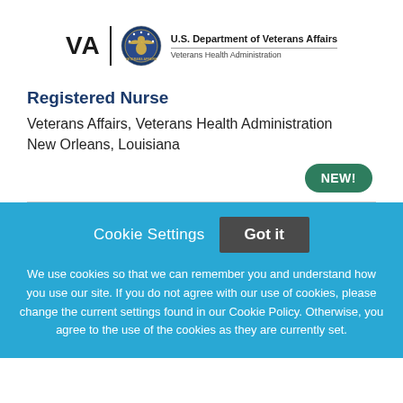[Figure (logo): U.S. Department of Veterans Affairs / Veterans Health Administration logo with VA text, seal, and department name]
Registered Nurse
Veterans Affairs, Veterans Health Administration
New Orleans, Louisiana
NEW!
Cookie Settings  Got it
We use cookies so that we can remember you and understand how you use our site. If you do not agree with our use of cookies, please change the current settings found in our Cookie Policy. Otherwise, you agree to the use of the cookies as they are currently set.